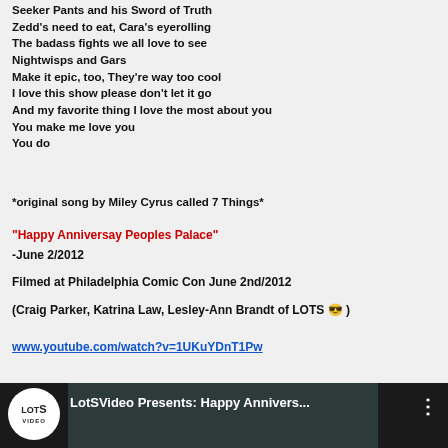Seeker Pants and his Sword of Truth
Zedd's need to eat, Cara's eyerolling
The badass fights we all love to see
Nightwisps and Gars
Make it epic, too, They're way too cool
I love this show please don't let it go
And my favorite thing I love the most about you
You make me love you
You do
*original song by Miley Cyrus called 7 Things*
"Happy Anniversay Peoples Palace"
-June 2/2012
Filmed at Philadelphia Comic Con June 2nd/2012
(Craig Parker, Katrina Law, Lesley-Ann Brandt of LOTS 😎 )
www.youtube.com/watch?v=1UKuYDnT1Pw
[Figure (screenshot): YouTube video thumbnail showing LotSVideo channel logo and video title 'LotSVideo Presents: Happy Annivers...' with three-dot menu icon on dark background]